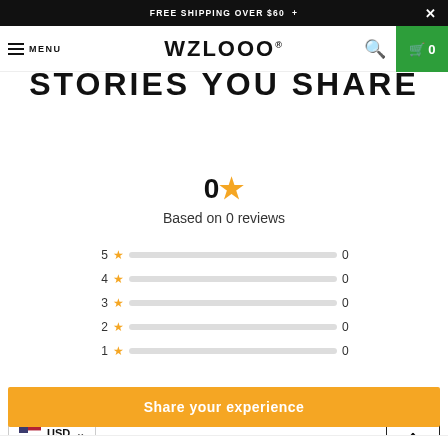FREE SHIPPING OVER $60 +
WZLOOO - MENU - 0
STORIES YOU SHARE
0★
Based on 0 reviews
[Figure (infographic): Star rating breakdown bars: 5★ 0, 4★ 0, 3★ 0, 2★ 0, 1★ 0]
USD
Share your experience